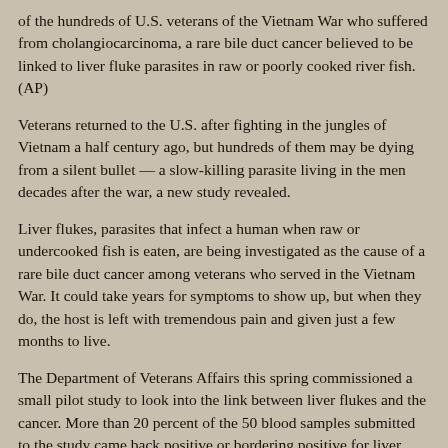of the hundreds of U.S. veterans of the Vietnam War who suffered from cholangiocarcinoma, a rare bile duct cancer believed to be linked to liver fluke parasites in raw or poorly cooked river fish.  (AP)
Veterans returned to the U.S. after fighting in the jungles of Vietnam a half century ago, but hundreds of them may be dying from a silent bullet — a slow-killing parasite living in the men decades after the war, a new study revealed.
Liver flukes, parasites that infect a human when raw or undercooked fish is eaten, are being investigated as the cause of a rare bile duct cancer among veterans who served in the Vietnam War. It could take years for symptoms to show up, but when they do, the host is left with tremendous pain and given just a few months to live.
The Department of Veterans Affairs this spring commissioned a small pilot study to look into the link between liver flukes and the cancer. More than 20 percent of the 50 blood samples submitted to the study came back positive or bordering positive for liver fluke antibodies, said Sung-Tae Hong, the tropical medicine specialist who carried out the tests at Seoul National University in South Korea.
Gerry Wiggins, who served in Vietnam from 1968 to 1969, agreed to take part in the study even though he didn't have any symptoms. The